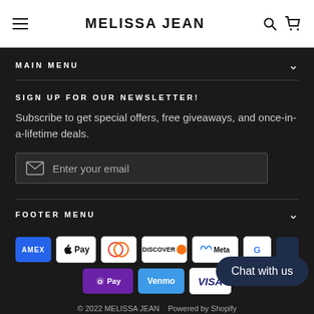MELISSA JEAN
MAIN MENU
SIGN UP FOR OUR NEWSLETTER!
Subscribe to get special offers, free giveaways, and once-in-a-lifetime deals.
Enter your email
FOOTER MENU
[Figure (other): Payment method icons: American Express, Apple Pay, Diners Club, Discover, Meta Pay, Google Pay (partially visible), Shop Pay, Venmo, Visa (partially visible)]
© 2022 MELISSA JEAN  Powered by Shopify